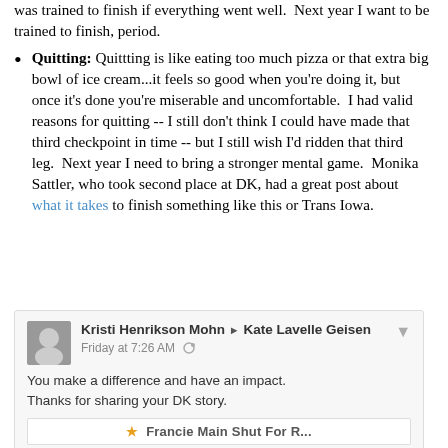was trained to finish if everything went well. Next year I want to be trained to finish, period.
Quitting: Quittting is like eating too much pizza or that extra big bowl of ice cream...it feels so good when you're doing it, but once it's done you're miserable and uncomfortable. I had valid reasons for quitting -- I still don't think I could have made that third checkpoint in time -- but I still wish I'd ridden that third leg. Next year I need to bring a stronger mental game. Monika Sattler, who took second place at DK, had a great post about what it takes to finish something like this or Trans Iowa.
[Figure (screenshot): Facebook post screenshot: Kristi Henrikson Mohn posting to Kate Lavelle Geisen, Friday at 7:26 AM. Message: 'You make a difference and have an impact. Thanks for sharing your DK story.' With a partial inner card showing at the bottom.]